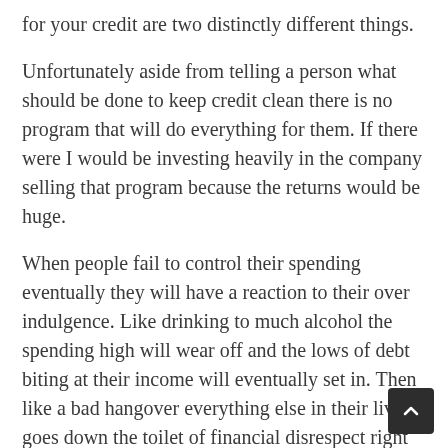for your credit are two distinctly different things.
Unfortunately aside from telling a person what should be done to keep credit clean there is no program that will do everything for them. If there were I would be investing heavily in the company selling that program because the returns would be huge.
When people fail to control their spending eventually they will have a reaction to their over indulgence. Like drinking to much alcohol the spending high will wear off and the lows of debt biting at their income will eventually set in. Then like a bad hangover everything else in their lives goes down the toilet of financial disrespect right along with the person.